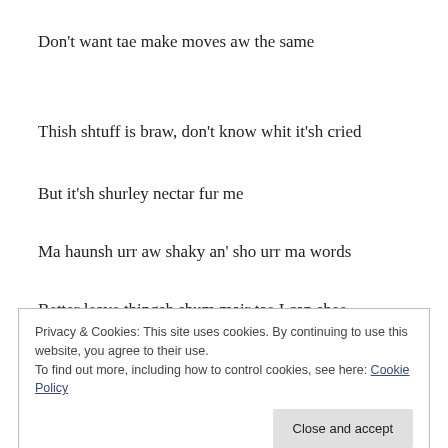Don’t want tae make moves aw the same
Thish shtuff is braw, don’t know whit it’sh cried
But it’sh shurley nectar fur me
Ma haunsh urr aw shaky an’ sho urr ma words
Better leave thingsh shum mair tae I can shee
Privacy & Cookies: This site uses cookies. By continuing to use this website, you agree to their use.
To find out more, including how to control cookies, see here: Cookie Policy
Close and accept